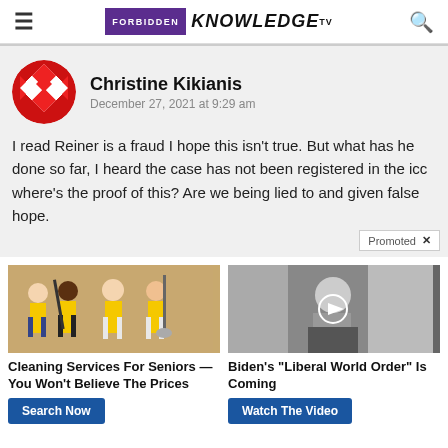FORBIDDEN KNOWLEDGE TV
Christine Kikianis
December 27, 2021 at 9:29 am
I read Reiner is a fraud I hope this isn't true. But what has he done so far, I heard the case has not been registered in the icc where's the proof of this? Are we being lied to and given false hope.
[Figure (photo): Advertisement: Four women in yellow uniforms holding cleaning equipment. Caption: Cleaning Services For Seniors — You Won't Believe The Prices. Button: Search Now]
[Figure (screenshot): Advertisement: Black and white video thumbnail of an elderly man at a laptop. Caption: Biden's "Liberal World Order" Is Coming. Button: Watch The Video]